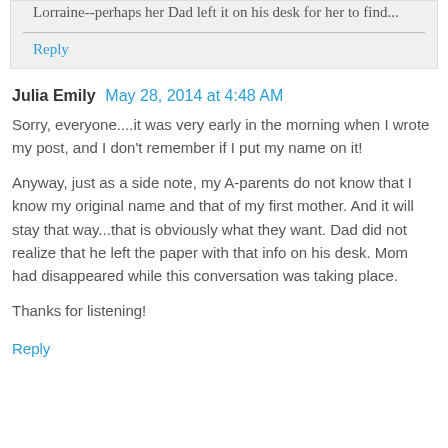Lorraine--perhaps her Dad left it on his desk for her to find...
Reply
Julia Emily  May 28, 2014 at 4:48 AM
Sorry, everyone....it was very early in the morning when I wrote my post, and I don't remember if I put my name on it!
Anyway, just as a side note, my A-parents do not know that I know my original name and that of my first mother. And it will stay that way...that is obviously what they want. Dad did not realize that he left the paper with that info on his desk. Mom had disappeared while this conversation was taking place.
Thanks for listening!
Reply